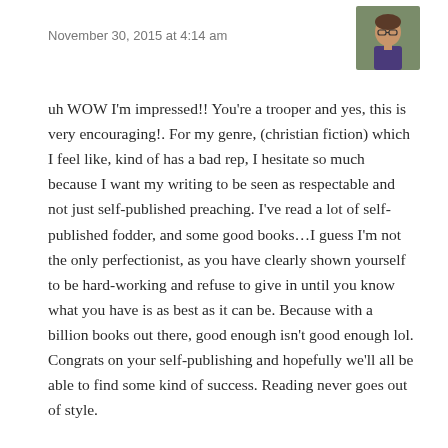November 30, 2015 at 4:14 am
[Figure (photo): Small portrait photo of a woman with glasses in a purple shirt, outdoors with green background]
uh WOW I'm impressed!! You're a trooper and yes, this is very encouraging!. For my genre, (christian fiction) which I feel like, kind of has a bad rep, I hesitate so much because I want my writing to be seen as respectable and not just self-published preaching. I've read a lot of self-published fodder, and some good books…I guess I'm not the only perfectionist, as you have clearly shown yourself to be hard-working and refuse to give in until you know what you have is as best as it can be. Because with a billion books out there, good enough isn't good enough lol. Congrats on your self-publishing and hopefully we'll all be able to find some kind of success. Reading never goes out of style.